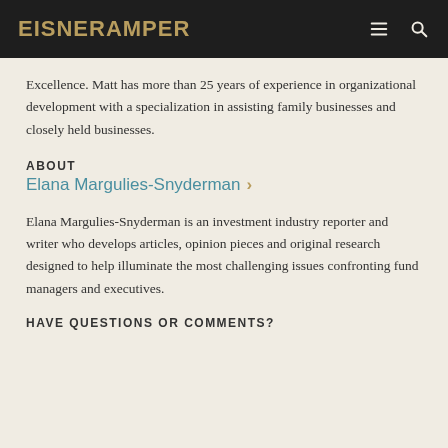EisnerAmper
Excellence. Matt has more than 25 years of experience in organizational development with a specialization in assisting family businesses and closely held businesses.
ABOUT
Elana Margulies-Snyderman ›
Elana Margulies-Snyderman is an investment industry reporter and writer who develops articles, opinion pieces and original research designed to help illuminate the most challenging issues confronting fund managers and executives.
HAVE QUESTIONS OR COMMENTS?